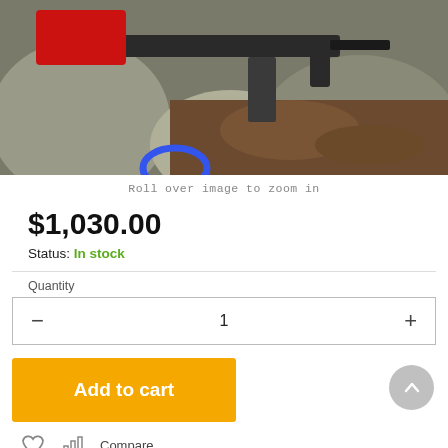[Figure (photo): Product photo of a firearm (rifle/AK-style) resting among rocks outdoors, partially visible with a red stock and black magazine.]
Roll over image to zoom in
$1,030.00
Status: In stock
Quantity
1
Add to cart
Compare